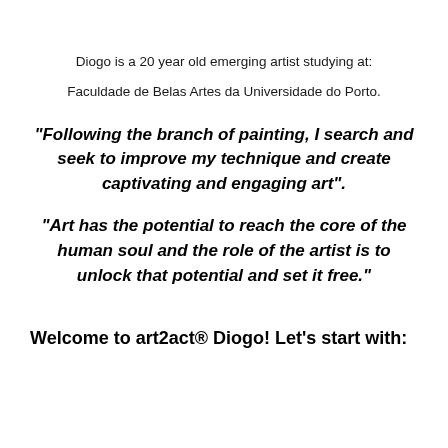Diogo is a 20 year old emerging artist studying at:
Faculdade de Belas Artes da Universidade do Porto.
"Following the branch of painting, I search and seek to improve my technique and create captivating and engaging art".
"Art has the potential to reach the core of the human soul and the role of the artist is to unlock that potential and set it free."
Welcome to art2act® Diogo! Let's start with: